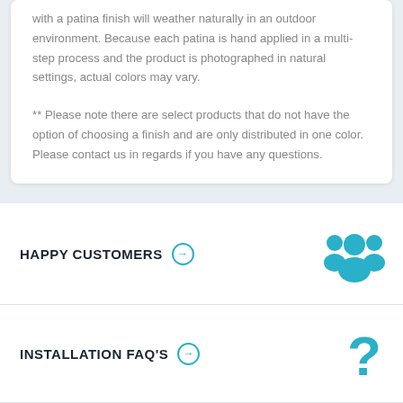with a patina finish will weather naturally in an outdoor environment. Because each patina is hand applied in a multi-step process and the product is photographed in natural settings, actual colors may vary.
** Please note there are select products that do not have the option of choosing a finish and are only distributed in one color. Please contact us in regards if you have any questions.
HAPPY CUSTOMERS
INSTALLATION FAQ'S